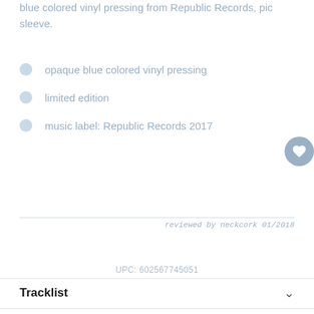blue colored vinyl pressing from Republic Records, pic sleeve.
opaque blue colored vinyl pressing
limited edition
music label: Republic Records 2017
reviewed by neckcork 01/2018
UPC: 602567745051
Tracklist